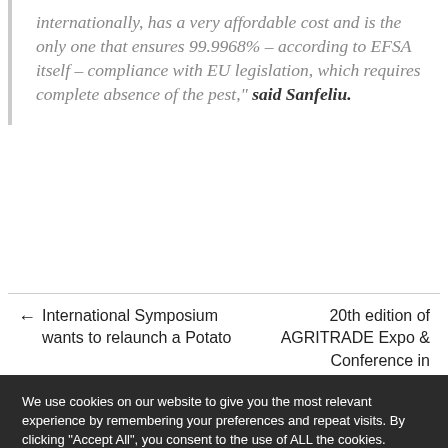internationally, has a very affordable cost and is the only one that ensures 99.9968% – according to EFSA itself – compliance with EU legislation, which requires complete absence of the pest," said Sanfeliu.
← International Symposium wants to relaunch a Potato    20th edition of AGRITRADE Expo & Conference in
We use cookies on our website to give you the most relevant experience by remembering your preferences and repeat visits. By clicking "Accept All", you consent to the use of ALL the cookies. However, you may visit "Cookie Settings" to provide a controlled consent.